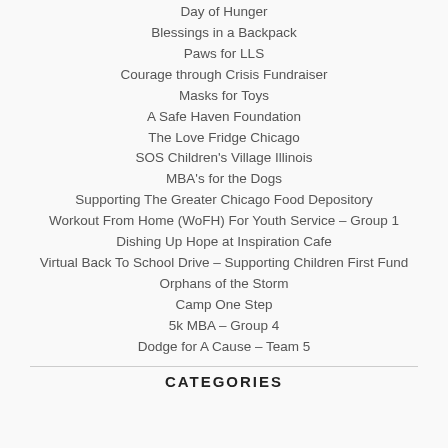Day of Hunger
Blessings in a Backpack
Paws for LLS
Courage through Crisis Fundraiser
Masks for Toys
A Safe Haven Foundation
The Love Fridge Chicago
SOS Children's Village Illinois
MBA's for the Dogs
Supporting The Greater Chicago Food Depository
Workout From Home (WoFH) For Youth Service – Group 1
Dishing Up Hope at Inspiration Cafe
Virtual Back To School Drive – Supporting Children First Fund
Orphans of the Storm
Camp One Step
5k MBA – Group 4
Dodge for A Cause – Team 5
CATEGORIES